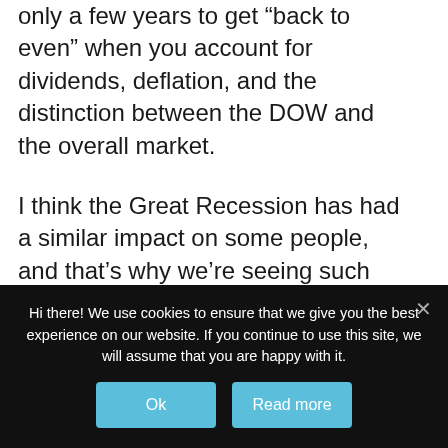only a few years to get “back to even” when you account for dividends, deflation, and the distinction between the DOW and the overall market.
I think the Great Recession has had a similar impact on some people, and that’s why we’re seeing such drastic changes in spending habits. Yes, technology and online shopping are playing a big role as well – if I can get what I need online, why would I go to the store? But it’s also true that if...
Hi there! We use cookies to ensure that we give you the best experience on our website. If you continue to use this site, we will assume that you are happy with it.